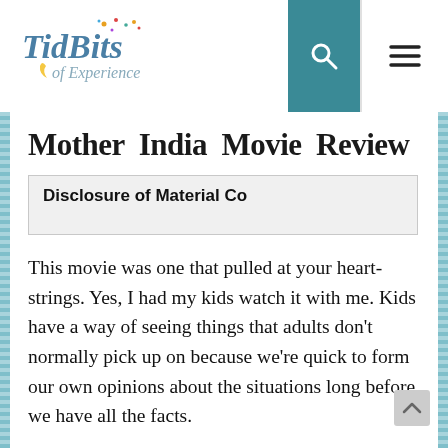TidBits of Experience
Mother India Movie Review
Disclosure of Material Co
This movie was one that pulled at your heart-strings. Yes, I had my kids watch it with me. Kids have a way of seeing things that adults don't normally pick up on because we're quick to form our own opinions about the situations long before we have all the facts.
This...